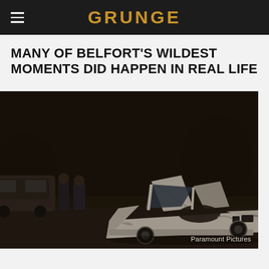GRUNGE
MANY OF BELFORT'S WILDEST MOMENTS DID HAPPEN IN REAL LIFE
[Figure (photo): Dark nighttime scene from a movie showing a damaged white Lamborghini Countach with scissor doors open, parked on a road with police figures standing nearby beside another vehicle. Still from Paramount Pictures film The Wolf of Wall Street.]
Paramount Pictures